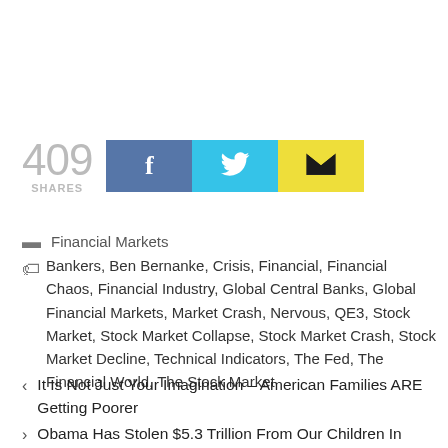[Figure (infographic): Social share bar showing 409 shares with Facebook (blue), Twitter (cyan), and Email (yellow) buttons]
Financial Markets
Bankers, Ben Bernanke, Crisis, Financial, Financial Chaos, Financial Industry, Global Central Banks, Global Financial Markets, Market Crash, Nervous, QE3, Stock Market, Stock Market Collapse, Stock Market Crash, Stock Market Decline, Technical Indicators, The Fed, The Financial World, The Stock Market
< It Is Not Just Your Imagination – American Families ARE Getting Poorer
> Obama Has Stolen $5.3 Trillion From Our Children In Order To Make Himself Look Good